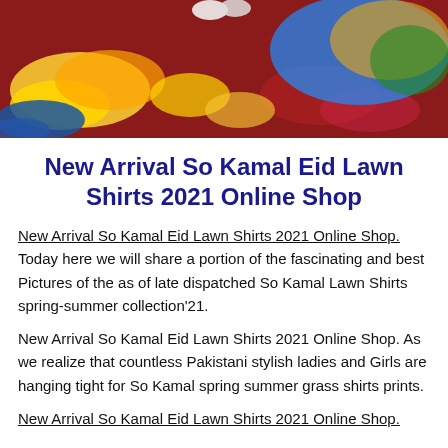[Figure (photo): Colorful floral arrangement scene with yellow marigolds, blue and red flowers on a red cloth background, with a woman in colorful clothing visible]
New Arrival So Kamal Eid Lawn Shirts 2021 Online Shop
New Arrival So Kamal Eid Lawn Shirts 2021 Online Shop. Today here we will share a portion of the fascinating and best Pictures of the as of late dispatched So Kamal Lawn Shirts spring-summer collection'21.
New Arrival So Kamal Eid Lawn Shirts 2021 Online Shop. As we realize that countless Pakistani stylish ladies and Girls are hanging tight for So Kamal spring summer grass shirts prints.
New Arrival So Kamal Eid Lawn Shirts 2021 Online Shop. Because of the ladies they also to make themselves look